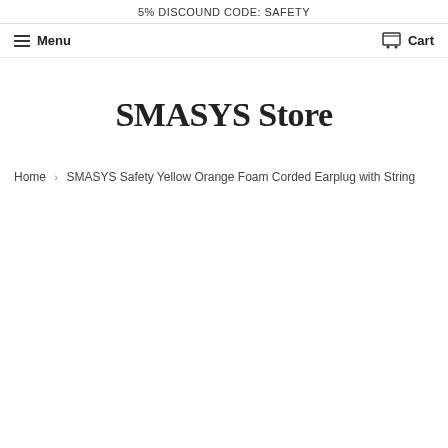5% DISCOUND CODE: SAFETY
Menu
Cart
SMASYS Store
Home › SMASYS Safety Yellow Orange Foam Corded Earplug with String